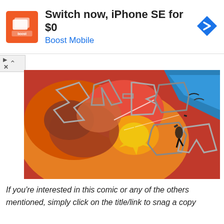[Figure (other): Advertisement banner for Boost Mobile showing logo on orange background with text 'Switch now, iPhone SE for $0' and 'Boost Mobile' in blue, with a blue diamond arrow icon on the right]
[Figure (illustration): Comic book illustration showing an explosive action scene with large stylized 'KA-BOOM' sound effect letters in outline style over dramatic orange and red explosion imagery with figures being thrown]
If you’re interested in this comic or any of the others mentioned, simply click on the title/link to snag a copy